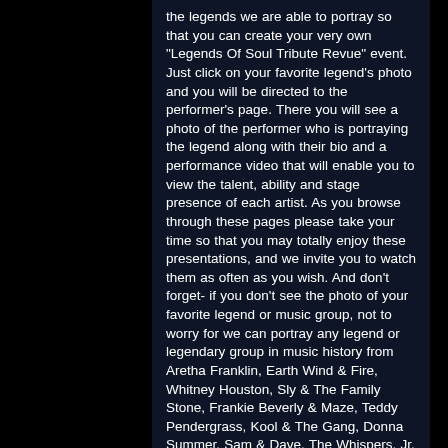the legends we are able to portray so that you can create your very own "Legends Of Soul Tribute Revue" event. Just click on your favorite legend's photo and you will be directed to the performer's page. There you will see a photo of the performer who is portraying the legend along with their bio and a performance video that will enable you to view the talent, ability and stage presence of each artist. As you browse through these pages please take your time so that you may totally enjoy these presentations, and we invite you to watch them as often as you wish. And don't forget- if you don't see the photo of your favorite legend or music group, not to worry for we can portray any legend or legendary group in music history from Aretha Franklin, Earth Wind & Fire, Whitney Houston, Sly & The Family Stone, Frankie Beverly & Maze, Teddy Pendergrass, Kool & The Gang, Donna Summer, Sam & Dave, The Whispers, Jr. Walker & The All-Stars, Etta James, The Temptations, The Spinners, Blue Magic